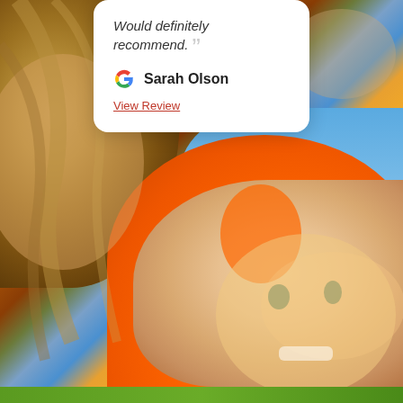[Figure (photo): Photo of smiling children in orange shirts, taken from a low angle with blue sky visible. Two children are visible, one in the foreground smiling broadly. Background shows blue sky and orange clothing.]
Would definitely recommend. ””
Sarah Olson
View Review